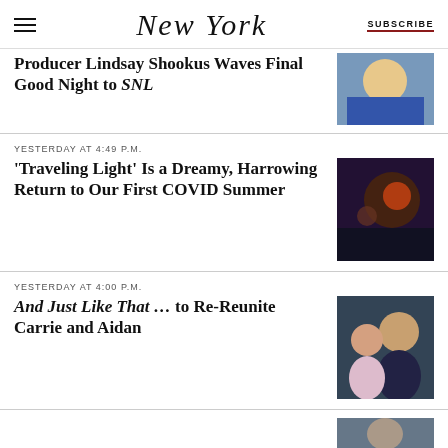New York — SUBSCRIBE
Producer Lindsay Shookus Waves Final Good Night to SNL
YESTERDAY AT 4:49 P.M.
'Traveling Light' Is a Dreamy, Harrowing Return to Our First COVID Summer
YESTERDAY AT 4:00 P.M.
And Just Like That … to Re-Reunite Carrie and Aidan